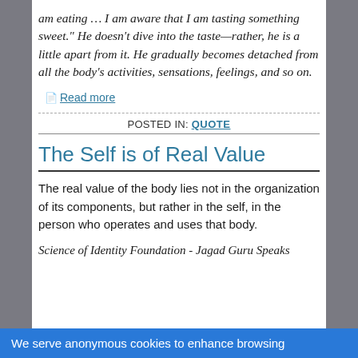am eating … I am aware that I am tasting something sweet." He doesn't dive into the taste—rather, he is a little apart from it. He gradually becomes detached from all the body's activities, sensations, feelings, and so on.
Read more
POSTED IN: QUOTE
The Self is of Real Value
The real value of the body lies not in the organization of its components, but rather in the self, in the person who operates and uses that body.
Science of Identity Foundation - Jagad Guru Speaks
We serve anonymous cookies to enhance browsing